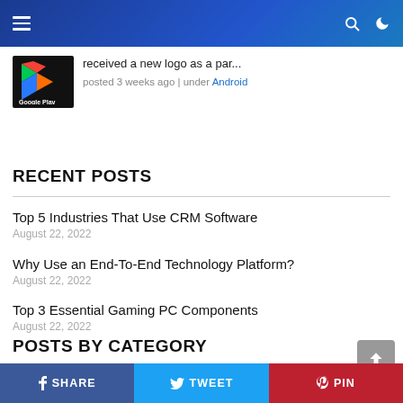Navigation bar with hamburger menu, search, and dark mode icons
received a new logo as a par...
posted 3 weeks ago | under Android
RECENT POSTS
Top 5 Industries That Use CRM Software
August 22, 2022
Why Use an End-To-End Technology Platform?
August 22, 2022
Top 3 Essential Gaming PC Components
August 22, 2022
POSTS BY CATEGORY
SHARE  TWEET  PIN